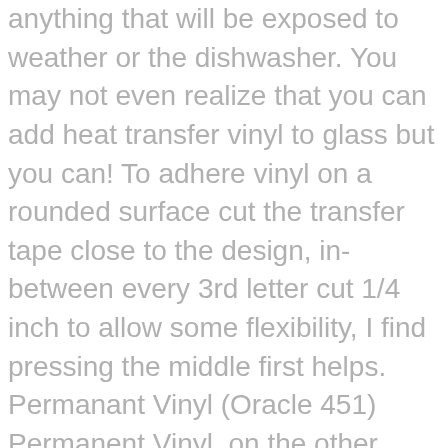anything that will be exposed to weather or the dishwasher. You may not even realize that you can add heat transfer vinyl to glass but you can! To adhere vinyl on a rounded surface cut the transfer tape close to the design, in-between every 3rd letter cut 1/4 inch to allow some flexibility, I find pressing the middle first helps. Permanant Vinyl (Oracle 451) Permanent Vinyl, on the other hand, stays where you put it and is waterproof. It rarely gets cold here but on the first day that it did I found myself with a mug of something warm almost all day long. There is one downside to this product. 3.8 out of 5 stars 1,394. 99. There are other brands but you want to look for somethin... It comes in many colors including etched glass. Permanent adhesive is dishwasher safe. And yes, I add my "PS Hand Wash Only" stickers, made with my Silhouette and white sticker paper to all wine glasses with vinyl to remind people they're not dishwasher safe. ... dishwasher safe vinyl for cricut The “Dog Mom” mug was made using Cricut’s removable vinyl After twenty washes: ...well, there you have it